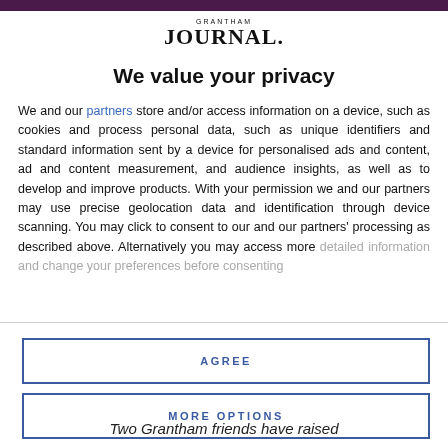GRANTHAM JOURNAL
We value your privacy
We and our partners store and/or access information on a device, such as cookies and process personal data, such as unique identifiers and standard information sent by a device for personalised ads and content, ad and content measurement, and audience insights, as well as to develop and improve products. With your permission we and our partners may use precise geolocation data and identification through device scanning. You may click to consent to our and our partners' processing as described above. Alternatively you may access more detailed information and change your preferences before consenting
AGREE
MORE OPTIONS
Two Grantham friends have raised